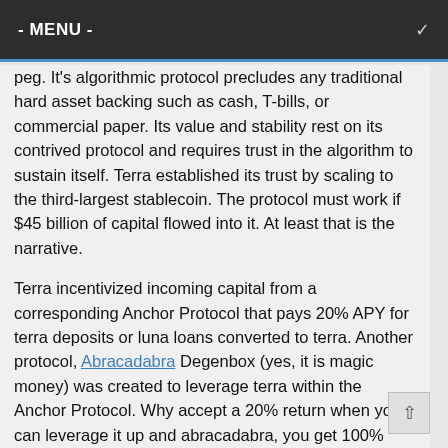- MENU -
peg.  It's algorithmic protocol precludes any traditional hard asset backing such as cash, T-bills, or commercial paper.  Its value and stability rest on its contrived protocol and requires trust in the algorithm to sustain itself.  Terra established its trust by scaling to the third-largest stablecoin.  The protocol must work if $45 billion of capital flowed into it.  At least that is the narrative.
Terra incentivized incoming capital from a corresponding Anchor Protocol that pays 20% APY for terra deposits or luna loans converted to terra.  Another protocol, Abracadabra Degenbox (yes, it is magic money) was created to leverage terra within the Anchor Protocol. Why accept a 20% return when you can leverage it up and abracadabra, you get 100% APY.  This is a classic Ponzi. The early